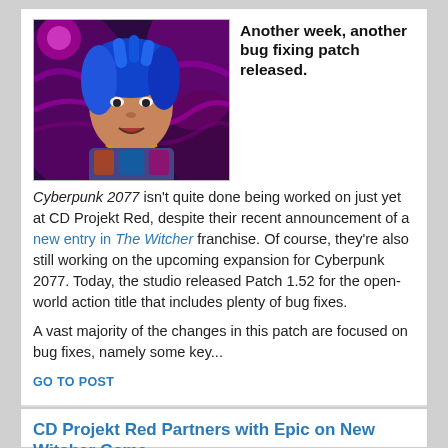[Figure (photo): Character from Cyberpunk 2077 — woman with blue hair, colorful outfit, purple/pink neon background]
Another week, another bug fixing patch released.
Cyberpunk 2077 isn't quite done being worked on just yet at CD Projekt Red, despite their recent announcement of a new entry in The Witcher franchise. Of course, they're also still working on the upcoming expansion for Cyberpunk 2077. Today, the studio released Patch 1.52 for the open-world action title that includes plenty of bug fixes.
A vast majority of the changes in this patch are focused on bug fixes, namely some key...
GO TO POST
CD Projekt Red Partners with Epic on New Witcher Game
Created by: Shawn Zipay
Published: 03.21.2022, 03:25 PM